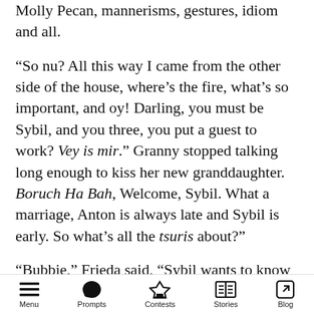Molly Pecan, mannerisms, gestures, idiom and all.
“So nu? All this way I came from the other side of the house, where’s the fire, what’s so important, and oy! Darling, you must be Sybil, and you three, you put a guest to work? Vey is mir.” Granny stopped talking long enough to kiss her new granddaughter. Boruch Ha Bah, Welcome, Sybil. What a marriage, Anton is always late and Sybil is early. So what’s all the tsuris about?”
“Bubbie,” Frieda said, “Sybil wants to know why when the family makes tongue, we cut off the first three inches. Momma does it. now we do it.
Menu  Prompts  Contests  Stories  Blog